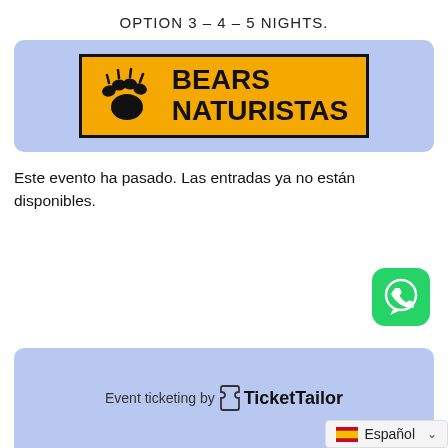OPTION 3 – 4 – 5 NIGHTS.
[Figure (logo): Bears Naturistas logo — orange/yellow background with black border, bear paw print on the left, bold black text BEARS NATURISTAS on the right, set on a light blue rounded rectangle background.]
Este evento ha pasado. Las entradas ya no están disponibles.
[Figure (illustration): WhatsApp green icon button (circle with white phone/chat bubble icon)]
[Figure (logo): Light blue rounded rectangle panel at the bottom containing 'Event ticketing by TicketTailor' text with TicketTailor logo]
Español